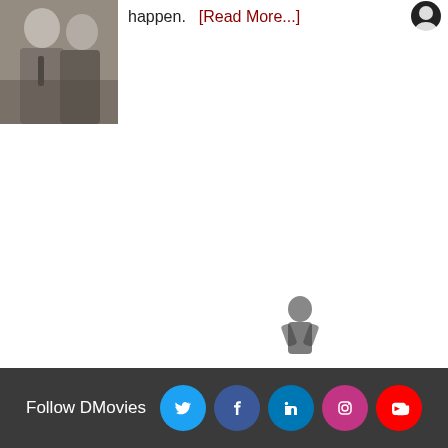[Figure (photo): Black and white thumbnail photo of two people, possibly from a classic film]
happen.  [Read More...]
[Figure (photo): Small circular avatar/icon in top right corner]
[Figure (photo): Small dark figure silhouette at bottom left near footer]
Follow DMovies  [Twitter] [Facebook] [LinkedIn] [Instagram] [YouTube]